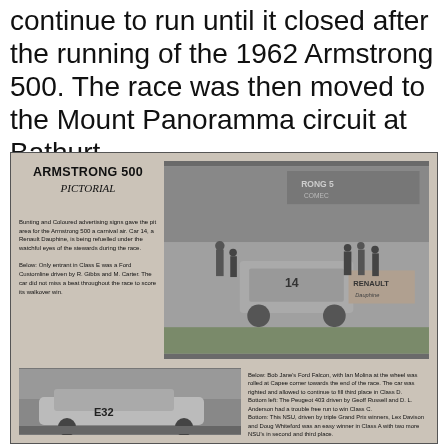continue to run until it closed after the running of the 1962 Armstrong 500. The race was then moved to the Mount Panoramma circuit at Bathurt.
[Figure (photo): Black and white photo of Armstrong 500 race pit area showing Car 14, a Renault Dauphine, being refuelled with crowd and Renault signage visible]
ARMSTRONG 500 PICTORIAL
Bunting and Coloured advertising signs gave the pit area for the Armstrong 500 a carnival air. Car 14, a Renault Dauphine, is being refuelled under the watchful eyes of the stewards during the race.

Below: Only entrant in Class E was a Ford Customline driven by R. Gibbs and M. Carter. The car did not miss a beat throughout the race to score its walkover win.
[Figure (photo): Black and white photo of a racing car numbered E32, a Ford, on the track during the Armstrong 500 race]
Below: Bob Jane's Ford Falcon, with Ian Molina at the wheel was rolled at Capee corner towards the end of the race. The car was righted and allowed to continue to fill third place in Class D.
Bottom left: The Peugeot 403 driven by Geoff Russell and D. L. Anderson had a trouble free run to win Class C.
Bottom: This NSU, driven by triple Grand Prix winners, Lex Davison and Doug Whiteford was an easy winner in Class A with two more NSU's in second and third place.